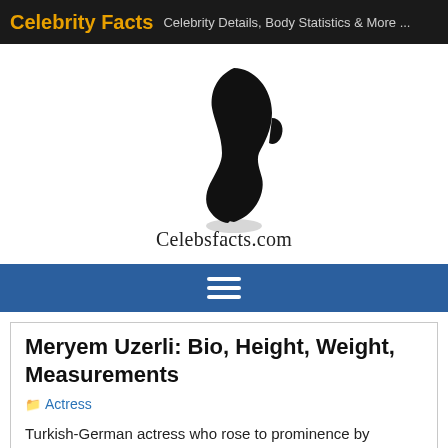Celebrity Facts  Celebrity Details, Body Statistics & More ...
[Figure (logo): Celebsfacts.com logo: silhouette of a face profile in black with the text Celebsfacts.com below]
Meryem Uzerli: Bio, Height, Weight, Measurements
Actress
Turkish-German actress who rose to prominence by portraying the role of Hurrem Sultan on the television series Muhtesem Yuzyll, for which she earned her numerous accolades, including a Golden Butterfly Award. She has worked as a model for leading magazines such as Elle, Marie